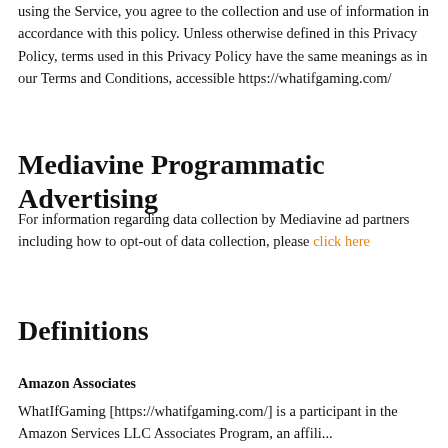using the Service, you agree to the collection and use of information in accordance with this policy. Unless otherwise defined in this Privacy Policy, terms used in this Privacy Policy have the same meanings as in our Terms and Conditions, accessible https://whatifgaming.com/
Mediavine Programmatic Advertising
For information regarding data collection by Mediavine ad partners including how to opt-out of data collection, please click here
Definitions
Amazon Associates
WhatIfGaming [https://whatifgaming.com/] is a participant in the Amazon Services LLC Associates Program, an affili...